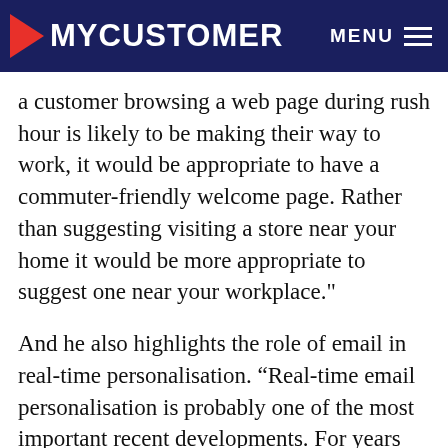MYCUSTOMER  MENU
a customer browsing a web page during rush hour is likely to be making their way to work, it would be appropriate to have a commuter-friendly welcome page. Rather than suggesting visiting a store near your home it would be more appropriate to suggest one near your workplace."
And he also highlights the role of email in real-time personalisation. “Real-time email personalisation is probably one of the most important recent developments. For years email has been losing its effectiveness. Customers receive hundreds of emails every day and unsubscribing from an emailing list is one of the most common bugbears of modern life. As